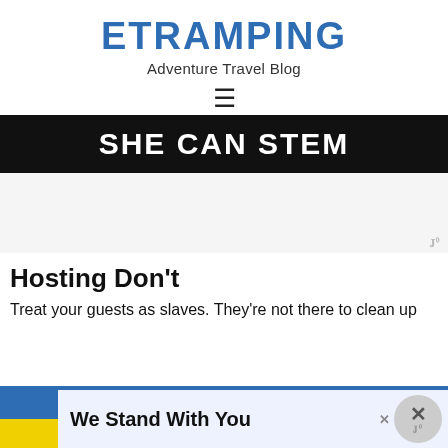ETRAMPING
Adventure Travel Blog
[Figure (screenshot): Hamburger menu icon (three horizontal lines)]
[Figure (screenshot): Dark banner image with white bold text: SHE CAN STEM]
Hosting Don't
Treat your guests as slaves. They're not there to clean up
[Figure (screenshot): Advertisement banner: Ukrainian flag icon on left with text 'We Stand With You', close button on right]